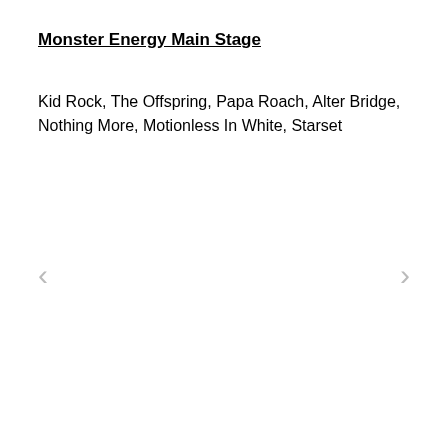Monster Energy Main Stage
Kid Rock, The Offspring, Papa Roach, Alter Bridge, Nothing More, Motionless In White, Starset